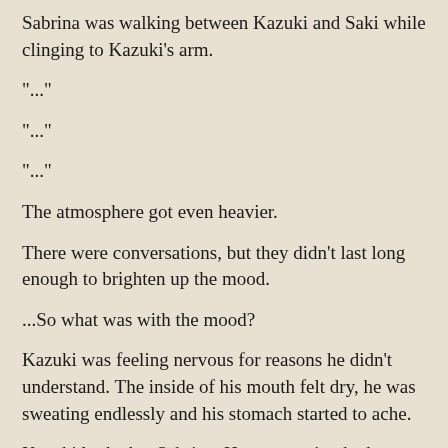Sabrina was walking between Kazuki and Saki while clinging to Kazuki's arm.
"..."
"..."
"..."
The atmosphere got even heavier.
There were conversations, but they didn't last long enough to brighten up the mood.
...So what was with the mood?
Kazuki was feeling nervous for reasons he didn't understand. The inside of his mouth felt dry, he was sweating endlessly and his stomach started to ache.
Kazuki looked at Sabrina. Her expression had softened compared to before.